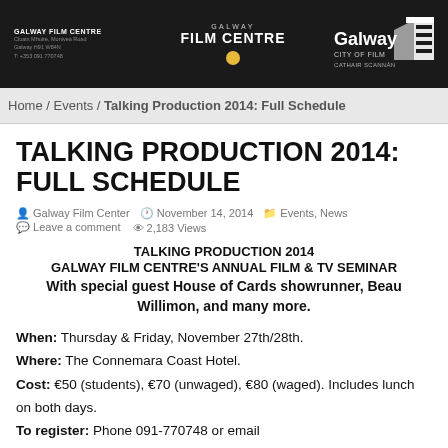GALWAY FILM CENTRE | GALWAY FILM CENTRE | Galway City of Film
Home / Events / Talking Production 2014: Full Schedule
TALKING PRODUCTION 2014: FULL SCHEDULE
Galway Film Center  |  November 14, 2014  |  Events, News  |  Leave a comment  |  2,183 Views
TALKING PRODUCTION 2014
GALWAY FILM CENTRE'S ANNUAL FILM & TV SEMINAR
With special guest House of Cards showrunner, Beau Willimon, and many more.
When: Thursday & Friday, November 27th/28th.
Where: The Connemara Coast Hotel.
Cost: €50 (students), €70 (unwaged), €80 (waged). Includes lunch on both days.
To register: Phone 091-770748 or email